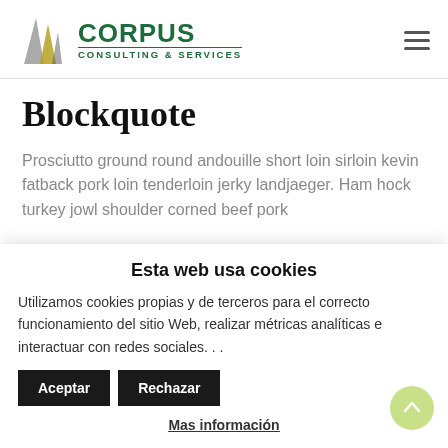[Figure (logo): Corpus Consulting & Services logo with two triangular shapes in grey and gold, and green text]
Blockquote
Prosciutto ground round andouille short loin sirloin kevin fatback pork loin tenderloin jerky landjaeger. Ham hock turkey jowl shoulder corned beef pork
Esta web usa cookies
Utilizamos cookies propias y de terceros para el correcto funcionamiento del sitio Web, realizar métricas analíticas e interactuar con redes sociales. . .
Mas información